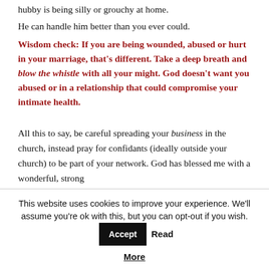hubby is being silly or grouchy at home.
He can handle him better than you ever could.
Wisdom check: If you are being wounded, abused or hurt in your marriage, that’s different. Take a deep breath and blow the whistle with all your might. God doesn’t want you abused or in a relationship that could compromise your intimate health.
All this to say, be careful spreading your business in the church, instead pray for confidants (ideally outside your church) to be part of your network. God has blessed me with a wonderful, strong
This website uses cookies to improve your experience. We'll assume you're ok with this, but you can opt-out if you wish. Accept Read More